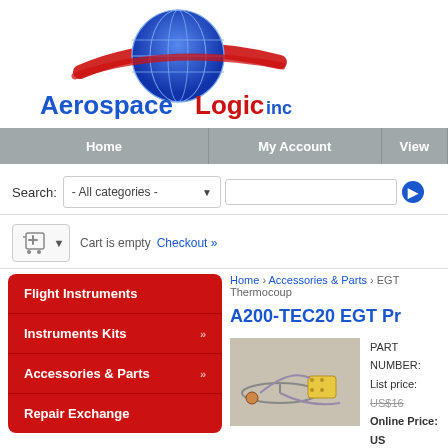[Figure (logo): Aerospace Logic Inc logo with globe and red swash]
Home | My Account | View
Search: - All categories -
Cart is empty  Checkout »
Flight Instruments
Instruments Kits »
Accessories & Parts »
Repair Exchange
Information
STC's and AML
Manufacturing Approvals
Home › Accessories & Parts › EGT Thermocoup
A200-TEC20 EGT Pr
[Figure (photo): Product photo of EGT probe/thermocouple kit with cable]
PART NUMBER:
List price: US$16
Online Price: US
You save: US$10
AOG (?):
Quantity: